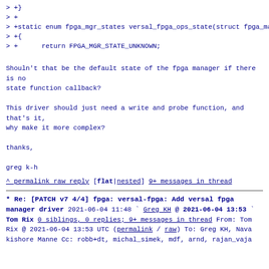> +}
> +
> +static enum fpga_mgr_states versal_fpga_ops_state(struct fpga_manager *mgr)
> +{
> +      return FPGA_MGR_STATE_UNKNOWN;
Shouln't that be the default state of the fpga manager if there is no
state function callback?
This driver should just need a write and probe function, and that's it,
why make it more complex?
thanks,
greg k-h
^ permalink raw reply   [flat|nested] 9+ messages in
thread
* Re: [PATCH v7 4/4] fpga: versal-fpga: Add versal fpga manager driver
  2021-06-04 11:48    ` Greg KH
@ 2021-06-04 13:53    ` Tom Rix
  0 siblings, 0 replies; 9+ messages in thread
From: Tom Rix @ 2021-06-04 13:53 UTC (permalink / raw)
  To: Greg KH, Nava kishore Manne
  Cc: robb+dt, michal_simek, mdf, arnd, rajan_vaja